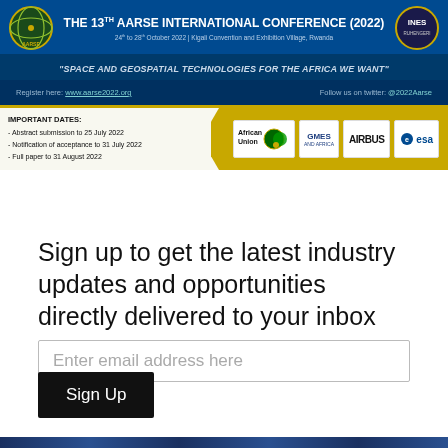[Figure (infographic): AARSE 13th International Conference 2022 banner with logos, tagline, dates, sponsors (African Union, GMES and Africa, Airbus, ESA)]
Sign up to get the latest industry updates and opportunities directly delivered to your inbox
Enter email address here
Sign Up